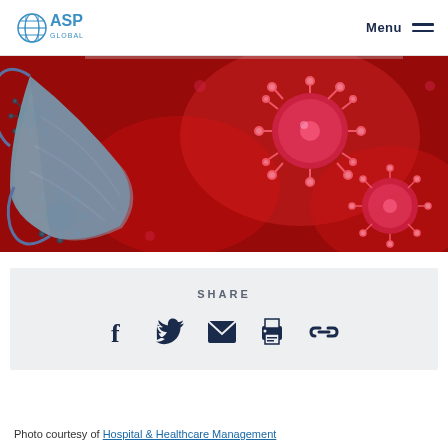ASP Global | Menu
[Figure (photo): Medical face mask and coronavirus particles illustration on red background]
SHARE
[Figure (infographic): Social share icons: Facebook, Twitter, Email, Print, Link]
Photo courtesy of Hospital & Healthcare Management